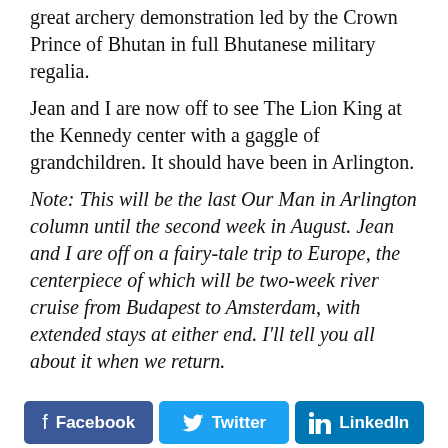great archery demonstration led by the Crown Prince of Bhutan in full Bhutanese military regalia. Jean and I are now off to see The Lion King at the Kennedy center with a gaggle of grandchildren. It should have been in Arlington.
Note: This will be the last Our Man in Arlington column until the second week in August. Jean and I are off on a fairy-tale trip to Europe, the centerpiece of which will be two-week river cruise from Budapest to Amsterdam, with extended stays at either end. I'll tell you all about it when we return.
[Figure (infographic): Social sharing buttons: Facebook (dark blue), Twitter (light blue), LinkedIn (blue), with infolinks label below]
[Figure (infographic): Hard Rock Sportsbook advertisement banner with Mystery Wheel promotion, Sign Up & Win A Free Bet Up To $5,000, Download Now button on purple background]